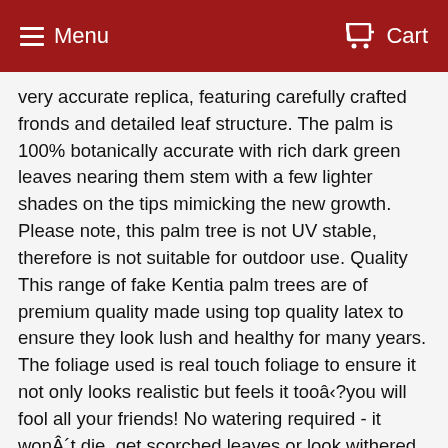Menu   Cart
very accurate replica, featuring carefully crafted fronds and detailed leaf structure. The palm is 100% botanically accurate with rich dark green leaves nearing them stem with a few lighter shades on the tips mimicking the new growth. Please note, this palm tree is not UV stable, therefore is not suitable for outdoor use. Quality This range of fake Kentia palm trees are of premium quality made using top quality latex to ensure they look lush and healthy for many years. The foliage used is real touch foliage to ensure it not only looks realistic but feels it tooâ?you will fool all your friends! No watering required - it wonÂ´t die, get scorched leaves or look withered like real palms do. Where can I use this palm tree? This artificial Kentia Palm tree is a very flexible product that compliments many environments, and designs. Whether you are going for a contemporary or traditional look, this tree can complement both styles with equal measure! Ideal for office environments, conference rooms, swimming pool areas, conservatories....and many more! Interesting fact about Kentia Palm The Kentia palm is native to Lord Howe Island which was discovered in the late 1700's.